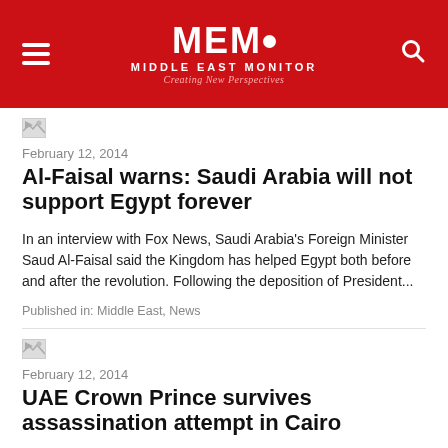MEMO MIDDLE EAST MONITOR — Creating New Perspectives
[Figure (logo): Small broken image thumbnail for article 1]
February 12, 2014
Al-Faisal warns: Saudi Arabia will not support Egypt forever
In an interview with Fox News, Saudi Arabia's Foreign Minister Saud Al-Faisal said the Kingdom has helped Egypt both before and after the revolution. Following the deposition of President...
Published in: Middle East, News
[Figure (logo): Small broken image thumbnail for article 2]
February 12, 2014
UAE Crown Prince survives assassination attempt in Cairo
UAE's Crown Prince Sheikh Mohammed Bin-Zayed survived an assassination attempt while on the way to Cairo's International